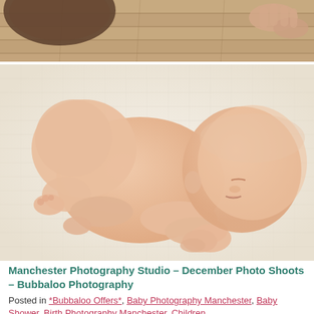[Figure (photo): Top portion of a newborn baby photography shot showing wooden floor background with a dark round prop and adult hands visible at top right]
[Figure (photo): Newborn baby sleeping curled up on a cream knitted blanket, posed in froggy position, peaceful expression, studio photography]
Manchester Photography Studio – December Photo Shoots – Bubbaloo Photography
Posted in *Bubbaloo Offers*, Baby Photography Manchester, Baby Shower, Birth Photography Manchester, Children